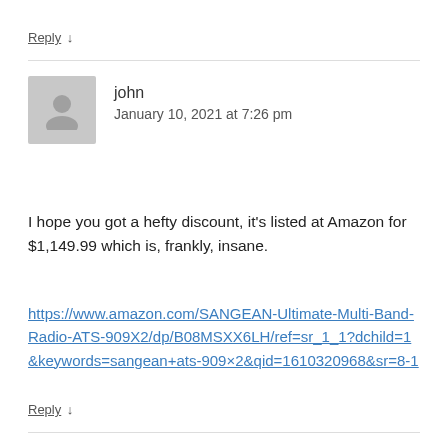Reply ↓
john
January 10, 2021 at 7:26 pm
I hope you got a hefty discount, it's listed at Amazon for $1,149.99 which is, frankly, insane.
https://www.amazon.com/SANGEAN-Ultimate-Multi-Band-Radio-ATS-909X2/dp/B08MSXX6LH/ref=sr_1_1?dchild=1&keywords=sangean+ats-909×2&qid=1610320968&sr=8-1
Reply ↓